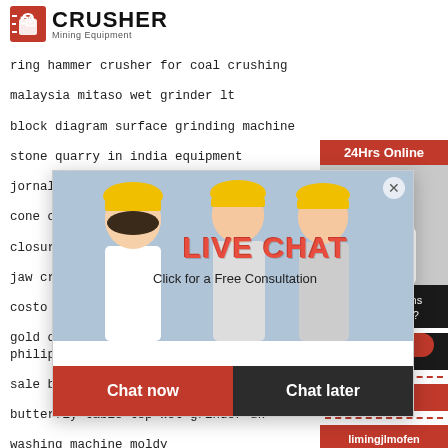[Figure (logo): Crusher Mining Equipment logo with red shopping bag icon and bold CRUSHER text]
ring hammer crusher for coal crushing
malaysia mitaso wet grinder lt
block diagram surface grinding machine
stone quarry in india equipment
jornals pada
cone crusher
closure of sto
jaw crusher machine manufacturers brazil
costo de instalacion de planta de cemento
gold ore impact crusher manufacturer in philip
sale ball mills gold johannesburg
butterfly table top wet grinder uk
washing machine moldy
[Figure (infographic): Live chat popup with workers in yellow hard hats, LIVE CHAT text in red, Click for a Free Consultation, Chat now and Chat later buttons]
[Figure (infographic): Right sidebar with 24Hrs Online badge, customer service representative photo, Need questions & suggestion? Chat Now button, Enquiry section, limingjlmofen@sina.com email]